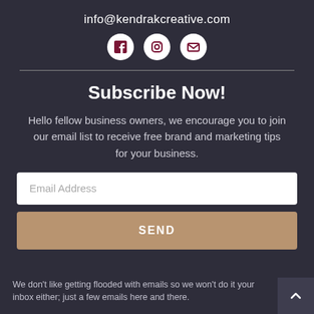info@kendrakcreative.com
[Figure (illustration): Three social media icon circles: Facebook, Instagram, Email/envelope]
Subscribe Now!
Hello fellow business owners, we encourage you to join our email list to receive free brand and marketing tips for your business.
Email Address
SEND
We don't like getting flooded with emails so we won't do it your inbox either; just a few emails here and there.